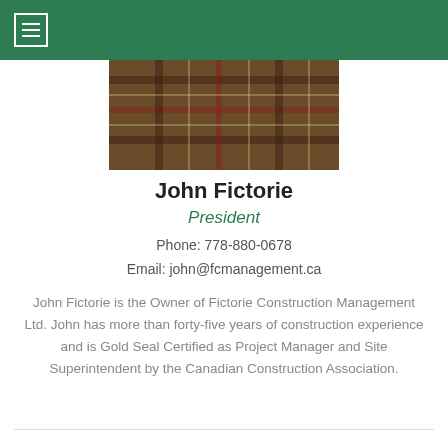Navigation header with hamburger menu icon
[Figure (photo): Person wearing a plaid/flannel shirt, cropped photo showing torso area]
John Fictorie
President
Phone: 778-880-0678
Email: john@fcmanagement.ca
John Fictorie is the Owner of Fictorie Construction Management Ltd. John has more than forty-five years of construction experience and is Gold Seal Certified as Project Manager and Site Superintendent by the Canadian Construction Association.